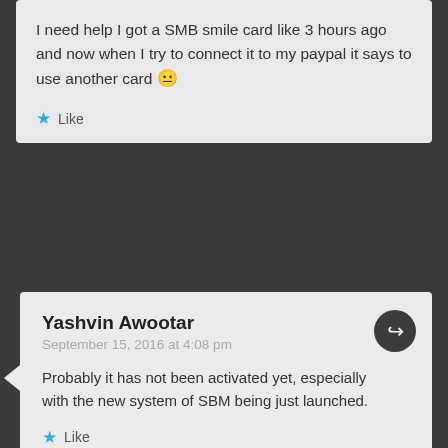I need help I got a SMB smile card like 3 hours ago and now when I try to connect it to my paypal it says to use another card 😐
Like
Yashvin Awootar
September 15, 2016 at 4:08 pm
Probably it has not been activated yet, especially with the new system of SBM being just launched.
Like
Meenakshi Chetty
October 5, 2016 at 7:12 am
Hello,